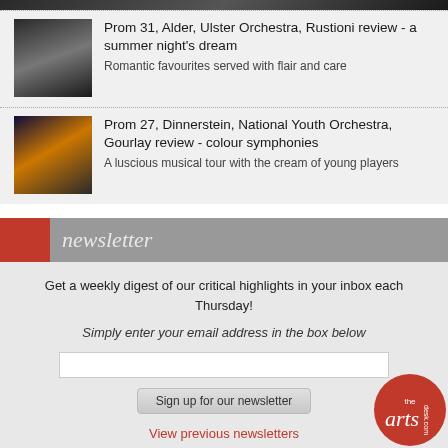[Figure (photo): Partial view of orchestra/conductor image at top]
Prom 31, Alder, Ulster Orchestra, Rustioni review - a summer night's dream
Romantic favourites served with flair and care
Prom 27, Dinnerstein, National Youth Orchestra, Gourlay review - colour symphonies
A luscious musical tour with the cream of young players
newsletter
Get a weekly digest of our critical highlights in your inbox each Thursday!
Simply enter your email address in the box below
Sign up for our newsletter
View previous newsletters